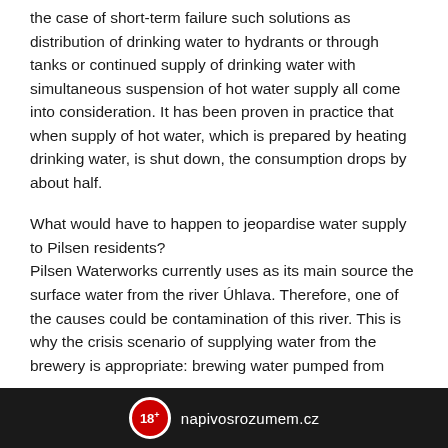the case of short-term failure such solutions as distribution of drinking water to hydrants or through tanks or continued supply of drinking water with simultaneous suspension of hot water supply all come into consideration. It has been proven in practice that when supply of hot water, which is prepared by heating drinking water, is shut down, the consumption drops by about half.
What would have to happen to jeopardise water supply to Pilsen residents?
Pilsen Waterworks currently uses as its main source the surface water from the river Úhlava. Therefore, one of the causes could be contamination of this river. This is why the crisis scenario of supplying water from the brewery is appropriate: brewing water pumped from
18+ napivosrozumem.cz